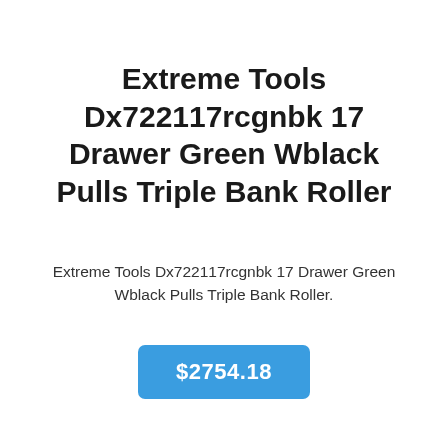Extreme Tools Dx722117rcgnbk 17 Drawer Green Wblack Pulls Triple Bank Roller
Extreme Tools Dx722117rcgnbk 17 Drawer Green Wblack Pulls Triple Bank Roller.
$2754.18